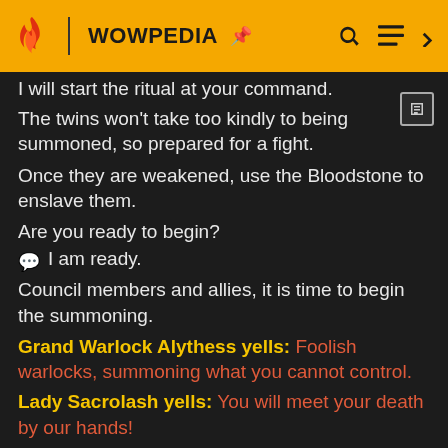WOWPEDIA
I will start the ritual at your command.
The twins won't take too kindly to being summoned, so prepared for a fight.
Once they are weakened, use the Bloodstone to enslave them.
Are you ready to begin?
I am ready.
Council members and allies, it is time to begin the summoning.
Grand Warlock Alythess yells: Foolish warlocks, summoning what you cannot control.
Lady Sacrolash yells: You will meet your death by our hands!
The Council and the warlock adventurer engage the